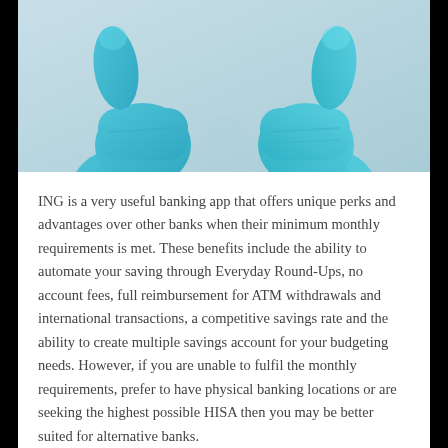[Figure (photo): Two hands wearing blue latex/nitrile gloves giving thumbs up, on a light grey background.]
ING is a very useful banking app that offers unique perks and advantages over other banks when their minimum monthly requirements is met. These benefits include the ability to automate your saving through Everyday Round-Ups, no account fees, full reimbursement for ATM withdrawals and international transactions, a competitive savings rate and the ability to create multiple savings account for your budgeting needs. However, if you are unable to fulfil the monthly requirements, prefer to have physical banking locations or are seeking the highest possible HISA then you may be better suited for alternative banks.